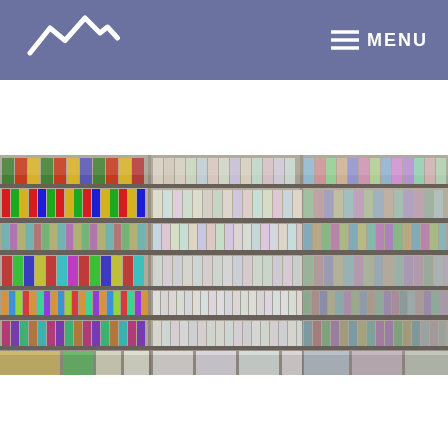MENU
[Figure (logo): Mountain/chart logo mark in white consisting of stylized zigzag mountain peak lines on a purple/blue-grey background]
[Figure (photo): Wide angle photo of fully stocked retail store shelves filled with colorful consumer goods, beverages, packaged food products arranged in multiple rows]